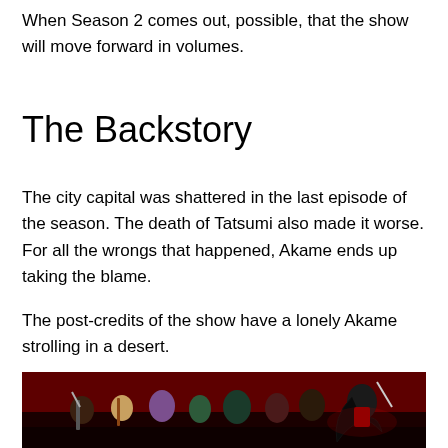When Season 2 comes out, possible, that the show will move forward in volumes.
The Backstory
The city capital was shattered in the last episode of the season. The death of Tatsumi also made it worse. For all the wrongs that happened, Akame ends up taking the blame.
The post-credits of the show have a lonely Akame strolling in a desert.
[Figure (illustration): Anime illustration of multiple characters from Akame ga Kill standing together against a dark red background. Characters include fighters with swords and weapons, with Akame prominent on the right side with long black hair.]